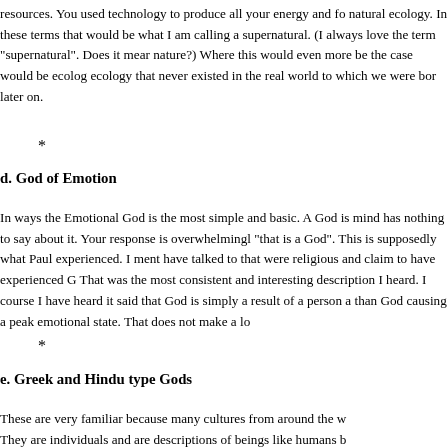resources. You used technology to produce all your energy and fo natural ecology. In these terms that would be what I am calling a supernatural. (I always love the term "supernatural". Does it mea nature?) Where this would even more be the case would be ecolog ecology that never existed in the real world to which we were bor later on.
*
d. God of Emotion
In ways the Emotional God is the most simple and basic. A God i mind has nothing to say about it. Your response is overwhelmingl "that is a God". This is supposedly what Paul experienced. I men have talked to that were religious and claim to have experienced G That was the most consistent and interesting description I heard. course I have heard it said that God is simply a result of a person than God causing a peak emotional state. That does not make a lo
*
e. Greek and Hindu type Gods
These are very familiar because many cultures from around the w They are individuals and are descriptions of beings like humans b